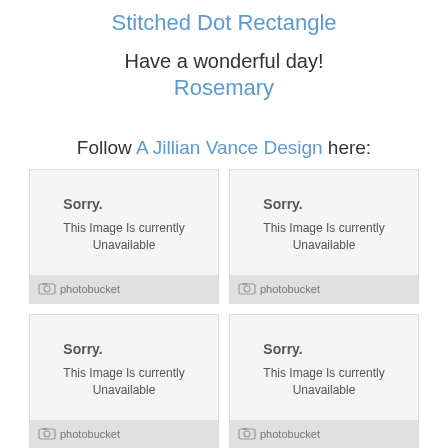Stitched Dot Rectangle
Have a wonderful day!
Rosemary
Follow A Jillian Vance Design here:
[Figure (photo): Photobucket unavailable image placeholder 1]
[Figure (photo): Photobucket unavailable image placeholder 2]
[Figure (photo): Photobucket unavailable image placeholder 3]
[Figure (photo): Photobucket unavailable image placeholder 4]